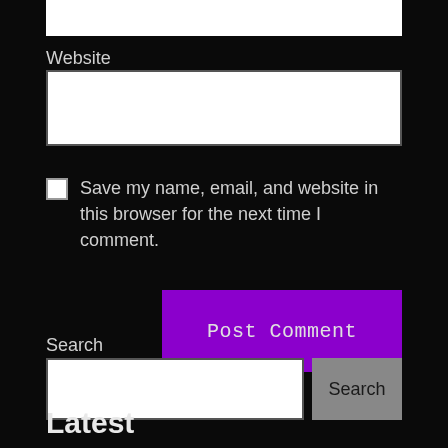Website
Save my name, email, and website in this browser for the next time I comment.
Post Comment
Search
Search
Latest